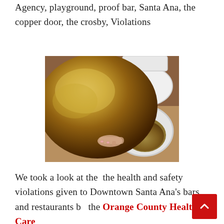Agency, playground, proof bar, Santa Ana, the copper door, the crosby, Violations
[Figure (photo): A person with blonde hair leaning over a toilet, resting their head on the toilet bowl.]
We took a look at the  the health and safety violations given to Downtown Santa Ana's bars and restaurants by the Orange County Health Care